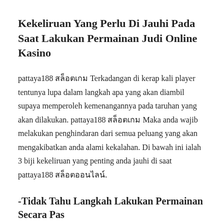Kekeliruan Yang Perlu Di Jauhi Pada Saat Lakukan Permainan Judi Online Kasino
pattaya188 สล็อตเกม Terkadangan di kerap kali player tentunya lupa dalam langkah apa yang akan diambil supaya memperoleh kemenangannya pada taruhan yang akan dilakukan. pattaya188 สล็อตเกม Maka anda wajib melakukan penghindaran dari semua peluang yang akan mengakibatkan anda alami kekalahan. Di bawah ini ialah 3 biji kekeliruan yang penting anda jauhi di saat pattaya188 สล็อตออนไลน์.
-Tidak Tahu Langkah Lakukan Permainan Secara Pas